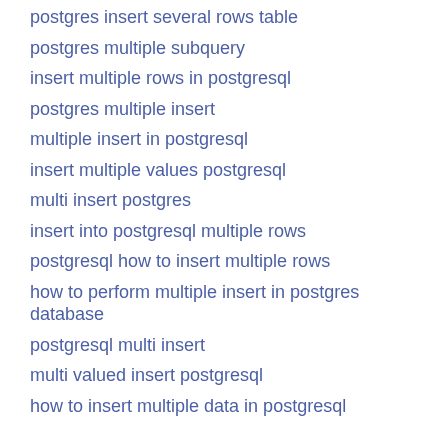postgres insert several rows table
postgres multiple subquery
insert multiple rows in postgresql
postgres multiple insert
multiple insert in postgresql
insert multiple values postgresql
multi insert postgres
insert into postgresql multiple rows
postgresql how to insert multiple rows
how to perform multiple insert in postgres database
postgresql multi insert
multi valued insert postgresql
how to insert multiple data in postgresql